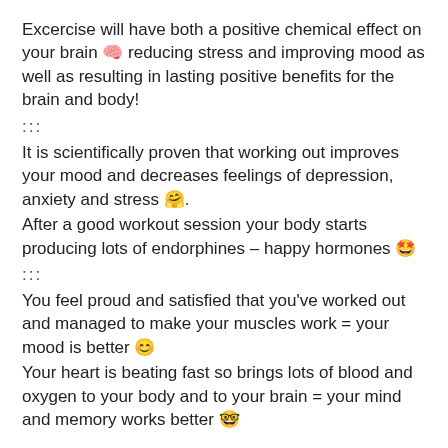Excercise will have both a positive chemical effect on your brain 🧠 reducing stress and improving mood as well as resulting in lasting positive benefits for the brain and body!
:::
It is scientifically proven that working out improves your mood and decreases feelings of depression, anxiety and stress 🤗.
After a good workout session your body starts producing lots of endorphines – happy hormones 🤩
:::
You feel proud and satisfied that you've worked out and managed to make your muscles work = your mood is better 😊
Your heart is beating fast so brings lots of blood and oxygen to your body and to your brain = your mind and memory works better 🤓